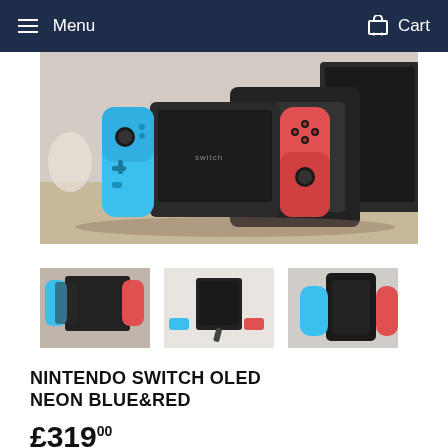Menu  Cart
[Figure (photo): Nintendo Switch OLED with neon blue and red Joy-Con controllers attached, leaning against the black dock on a wooden surface]
[Figure (photo): Thumbnail 1: Nintendo Switch in dock with blue and red Joy-Con]
[Figure (photo): Thumbnail 2: Nintendo Switch OLED standing upright with Joy-Con detached beside it]
[Figure (photo): Thumbnail 3: Nintendo Switch OLED docked with neon blue and red controllers attached]
NINTENDO SWITCH OLED NEON BLUE&RED
£319.00